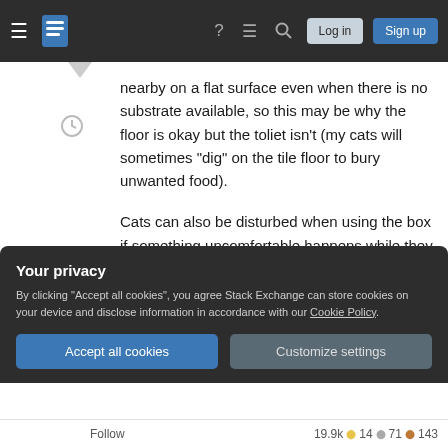Stack Exchange navigation bar with Log in and Sign up buttons
nearby on a flat surface even when there is no substrate available, so this may be why the floor is okay but the toliet isn't (my cats will sometimes "dig" on the tile floor to bury unwanted food).
Cats can also be disturbed when using the box if something uncomfortable happens while they are using it. He may be splashed by water, or have a balancing problem (pooping requires more muscles than peeing) that upsets him after the first time, so he goes on the floor in the future. It may be
Your privacy
By clicking "Accept all cookies", you agree Stack Exchange can store cookies on your device and disclose information in accordance with our Cookie Policy.
Accept all cookies
Customize settings
Follow   19.9k • 14 • 71 • 143